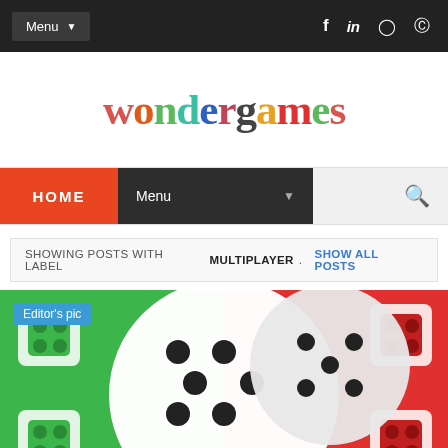Menu [social icons: f, in, instagram, pinterest]
[Figure (logo): WonderGames logo with multicolored letters]
HOME | Menu | Search
SHOWING POSTS WITH LABEL MULTIPLAYER. SHOW ALL POSTS
[Figure (photo): Ludo board game image with dice, green and red sections, Editor's pic badge]